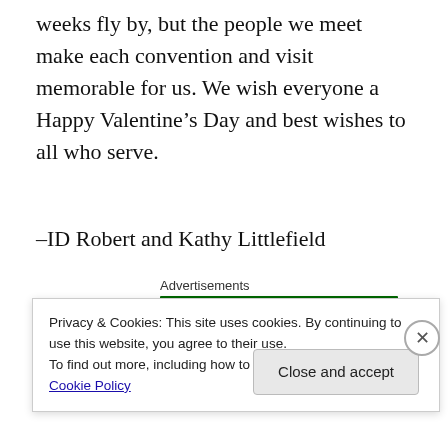weeks fly by, but the people we meet make each convention and visit memorable for us. We wish everyone a Happy Valentine’s Day and best wishes to all who serve.
–ID Robert and Kathy Littlefield
Advertisements
Privacy & Cookies: This site uses cookies. By continuing to use this website, you agree to their use.
To find out more, including how to control cookies, see here: Cookie Policy
Close and accept